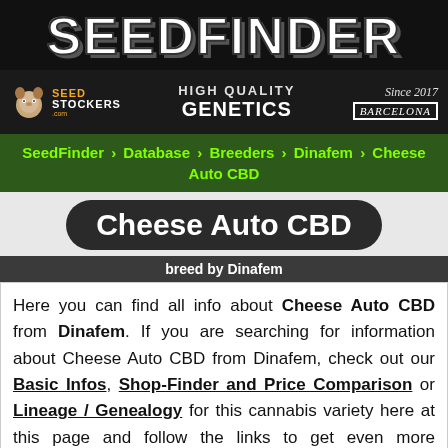[Figure (logo): SeedFinder banner logo with SEEDFINDER text in large white Impact font on dark background]
[Figure (logo): Seed Stockers advertisement banner with squirrel logo, HIGH QUALITY GENETICS text, Since 2017 Barcelona text]
SeedFinder › Database › Breeders › Dinafem › Cheese Auto CBD
Cheese Auto CBD
breed by Dinafem
Here you can find all info about Cheese Auto CBD from Dinafem. If you are searching for information about Cheese Auto CBD from Dinafem, check out our Basic Infos, Shop-Finder and Price Comparison or Lineage / Genealogy for this cannabis variety here at this page and follow the links to get even more information - or list all Cheese CBD Strains (±3) or even all Cheese Strains (277) to find a different version. If you have any personal